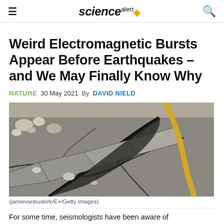sciencealert
Weird Electromagnetic Bursts Appear Before Earthquakes – and We May Finally Know Why
NATURE  30 May 2021  By DAVID NIELD
[Figure (photo): Cracked asphalt road with large fissures and scattered stones, showing earthquake damage. A yellow center line is visible on the damaged road surface.]
(jamievanbuskirk/E+/Getty Images)
For some time, seismologists have been aware of